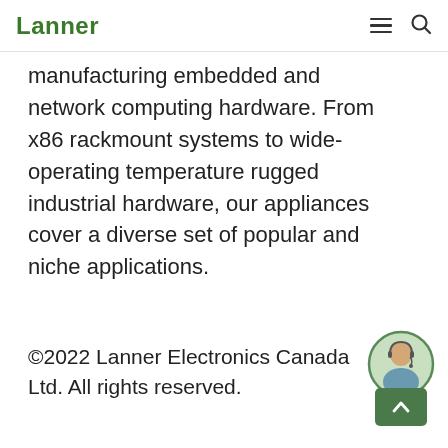Lanner
manufacturing embedded and network computing hardware. From x86 rackmount systems to wide-operating temperature rugged industrial hardware, our appliances cover a diverse set of popular and niche applications.
©2022 Lanner Electronics Canada Ltd. All rights reserved.
[Figure (illustration): Customer service representative avatar in a circular frame with a green chat/scroll-up button beneath it]